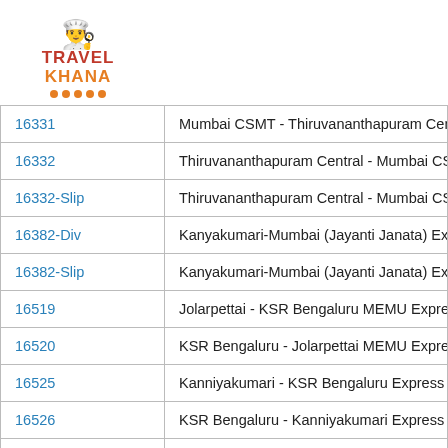[Figure (logo): TravelKhana logo with chef hat icon, red TRAVEL text, orange KHANA text, and orange dots underline]
| 16331 | Mumbai CSMT - Thiruvananthapuram Cent |
| 16332 | Thiruvananthapuram Central - Mumbai CSM |
| 16332-Slip | Thiruvananthapuram Central - Mumbai CSM |
| 16382-Div | Kanyakumari-Mumbai (Jayanti Janata) Exp |
| 16382-Slip | Kanyakumari-Mumbai (Jayanti Janata) Exp |
| 16519 | Jolarpettai - KSR Bengaluru MEMU Expres: |
| 16520 | KSR Bengaluru - Jolarpettai MEMU Expres: |
| 16525 | Kanniyakumari - KSR Bengaluru Express (P |
| 16526 | KSR Bengaluru - Kanniyakumari Express (P |
| 16562 | Kochuveli - Yesvantpur AC SF Express |